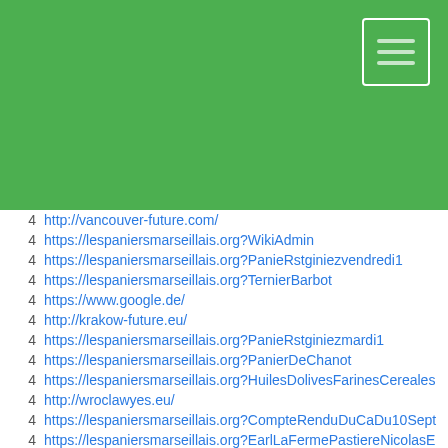[Figure (other): Green header banner with hamburger menu icon in top-right corner]
4   http://vancouver-future.com/
4   https://lespaniersmarseillais.org?WikiAdmin
4   https://lespaniersmarseillais.org?PanieRstginiezvendredi1
4   https://lespaniersmarseillais.org?TernierBarbot
4   https://www.google.de/
4   http://krakow-future.eu/
4   https://lespaniersmarseillais.org?PanieRstginiezmardi1
4   https://lespaniersmarseillais.org?PanierDeChanot
4   https://lespaniersmarseillais.org?HuilesDolivesFarinesCereales
4   http://wroclawyes.eu/
4   https://lespaniersmarseillais.org?CompteRenduDuCaDu10Sept
4   https://lespaniersmarseillais.org?EarlLaFermePastiereNicolasE
4   http://wroclaw-trend.eu/
4   http://krakowchanka.eu/
4   https://lespaniersmarseillais.org?LucGarnier
4   https://lespaniersmarseillais.org?PichonJean
4   http://iedmonton.net/
4   https://lespaniersmarseillais.org?AssembleeGeneraleDesPam